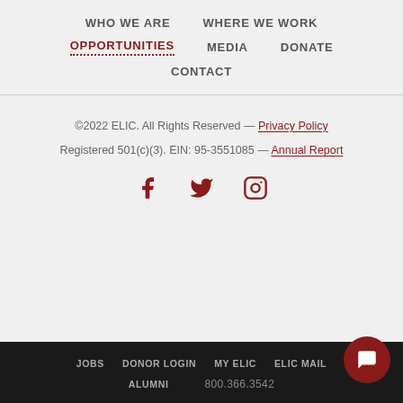WHO WE ARE | WHERE WE WORK | OPPORTUNITIES | MEDIA | DONATE | CONTACT
©2022 ELIC. All Rights Reserved — Privacy Policy
Registered 501(c)(3). EIN: 95-3551085 — Annual Report
[Figure (other): Social media icons: Facebook, Twitter, Instagram in dark red]
JOBS | DONOR LOGIN | MY ELIC | ELIC MAIL | ALUMNI | 800.366.3542